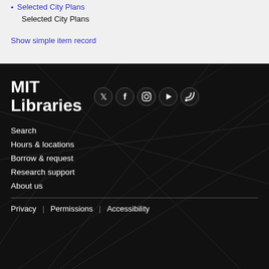Selected City Plans
Selected City Plans
Show simple item record
[Figure (logo): MIT Libraries logo in white text on dark background]
[Figure (other): Social media icons: Twitter, Facebook, Instagram, YouTube, RSS]
Search
Hours & locations
Borrow & request
Research support
About us
Privacy | Permissions | Accessibility